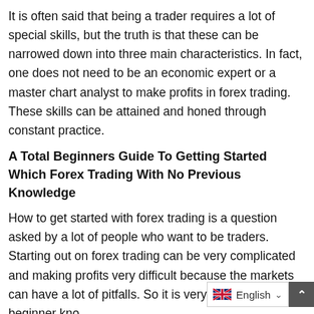It is often said that being a trader requires a lot of special skills, but the truth is that these can be narrowed down into three main characteristics. In fact, one does not need to be an economic expert or a master chart analyst to make profits in forex trading. These skills can be attained and honed through constant practice.
A Total Beginners Guide To Getting Started Which Forex Trading With No Previous Knowledge
How to get started with forex trading is a question asked by a lot of people who want to be traders. Starting out on forex trading can be very complicated and making profits very difficult because the markets can have a lot of pitfalls. So it is very important that a beginner kno...